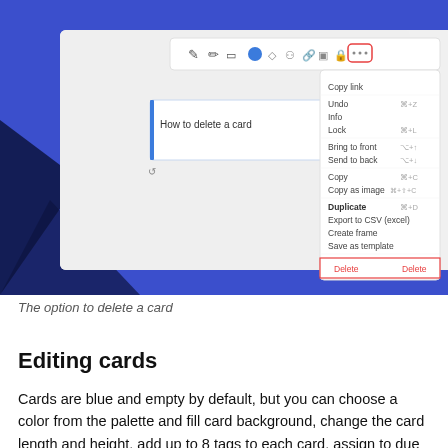[Figure (screenshot): Screenshot of a card editing interface showing a context menu with options including Copy link, Undo, Info, Lock, Bring to front, Send to back, Copy, Copy as image, Duplicate, Export to CSV (excel), Create frame, Save as template, and Delete (highlighted in red). A card titled 'How to delete a card' is visible on a blue background canvas. The three-dot menu button is highlighted with a red border.]
The option to delete a card
Editing cards
Cards are blue and empty by default, but you can choose a color from the palette and fill card background, change the card length and height, add up to 8 tags to each card, assign to due date and participants, and hide card data. All the